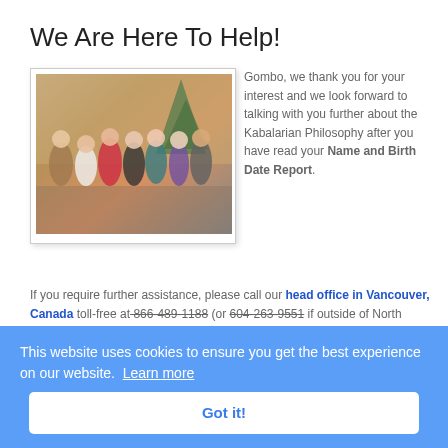We Are Here To Help!
[Figure (photo): Group photo of approximately 10 people standing together in front of a Christmas tree and wooden display]
Gombo, we thank you for your interest and we look forward to talking with you further about the Kabalarian Philosophy after you have read your Name and Birth Date Report. If you require further assistance, please call our head office in Vancouver, Canada toll-free at 866-489-1188 (or 604-263-9551 if outside of North America.)
Click here to read reviews.
This website uses cookies to ensure you get the best experience on our website. Learn more
Got it!